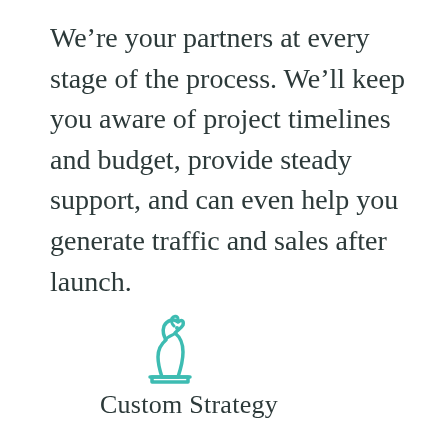We're your partners at every stage of the process. We'll keep you aware of project timelines and budget, provide steady support, and can even help you generate traffic and sales after launch.
[Figure (illustration): A teal/turquoise outline icon of a chess knight piece]
Custom Strategy